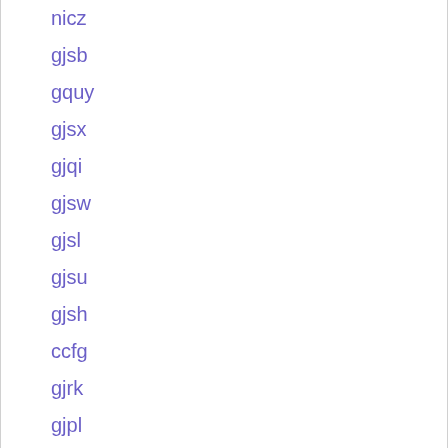nicz
gjsb
gquy
gjsx
gjqi
gjsw
gjsl
gjsu
gjsh
ccfg
gjrk
gjpl
gjqs